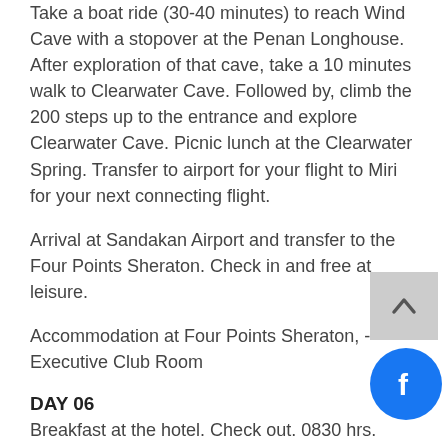Take a boat ride (30-40 minutes) to reach Wind Cave with a stopover at the Penan Longhouse. After exploration of that cave, take a 10 minutes walk to Clearwater Cave. Followed by, climb the 200 steps up to the entrance and explore Clearwater Cave. Picnic lunch at the Clearwater Spring. Transfer to airport for your flight to Miri for your next connecting flight.
Arrival at Sandakan Airport and transfer to the Four Points Sheraton. Check in and free at leisure.
Accommodation at Four Points Sheraton, -Executive Club Room
DAY 06
Breakfast at the hotel. Check out. 0830 hrs. Depart for the Sepilok Orang Utan Rehabilitation Centre. Walk ten minutes through the rainforest on wooden boardwalks to witness the